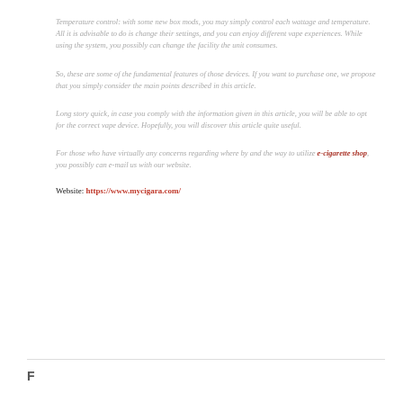Temperature control: with some new box mods, you may simply control each wattage and temperature. All it is advisable to do is change their settings, and you can enjoy different vape experiences. While using the system, you possibly can change the facility the unit consumes.
So, these are some of the fundamental features of those devices. If you want to purchase one, we propose that you simply consider the main points described in this article.
Long story quick, in case you comply with the information given in this article, you will be able to opt for the correct vape device. Hopefully, you will discover this article quite useful.
For those who have virtually any concerns regarding where by and the way to utilize e-cigarette shop, you possibly can e-mail us with our website.
Website: https://www.mycigara.com/
F